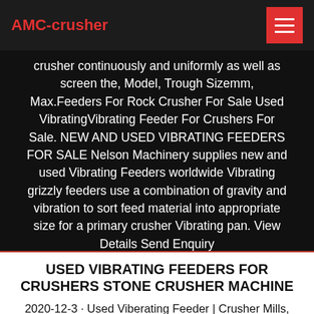AMC-crusher
crusher continuously and uniformly as well as screen the, Model, Trough Sizemm, Max.Feeders For Rock Crusher For Sale Used VibratingVibrating Feeder For Crushers For Sale. NEW AND USED VIBRATING FEEDERS FOR SALE Nelson Machinery supplies new and used Vibrating Feeders worldwide Vibrating grizzly feeders use a combination of gravity and vibration to sort feed material into appropriate size for a primary crusher Vibrating pan. View Details Send Enquiry
USED VIBRATING FEEDERS FOR CRUSHERS STONE CRUSHER MACHINE
2020-12-3 · Used Viberating Feeder | Crusher Mills, Cone Crusher, Jaw Get Price. used vibrating feeder - crushing and